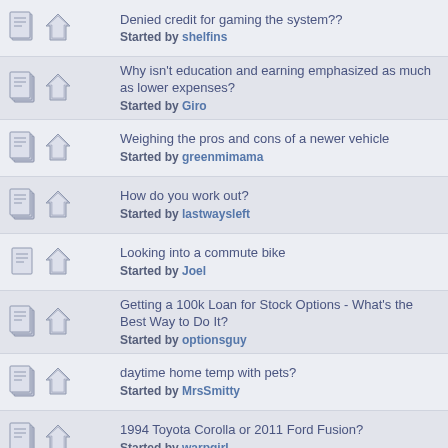Denied credit for gaming the system?? Started by shelfins
Why isn't education and earning emphasized as much as lower expenses? Started by Giro
Weighing the pros and cons of a newer vehicle Started by greenmimama
How do you work out? Started by lastwaysleft
Looking into a commute bike Started by Joel
Getting a 100k Loan for Stock Options - What's the Best Way to Do It? Started by optionsguy
daytime home temp with pets? Started by MrsSmitty
1994 Toyota Corolla or 2011 Ford Fusion? Started by warpgirl
FIRE without the E... Started by DeltaBond